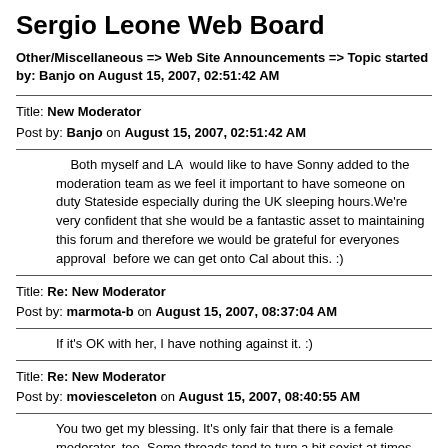Sergio Leone Web Board
Other/Miscellaneous => Web Site Announcements => Topic started by: Banjo on August 15, 2007, 02:51:42 AM
Title: New Moderator
Post by: Banjo on August 15, 2007, 02:51:42 AM
Both myself and LA  would like to have Sonny added to the moderation team as we feel it important to have someone on duty Stateside especially during the UK sleeping hours.We're very confident that she would be a fantastic asset to maintaining this forum and therefore we would be grateful for everyones approval  before we can get onto Cal about this. :)
Title: Re: New Moderator
Post by: marmota-b on August 15, 2007, 08:37:04 AM
If it's OK with her, I have nothing against it. :)
Title: Re: New Moderator
Post by: moviesceleton on August 15, 2007, 08:40:55 AM
You two get my blessing. It's only fair that there is a female moderator, too. Some threads tend to turn a bit sexist at times.